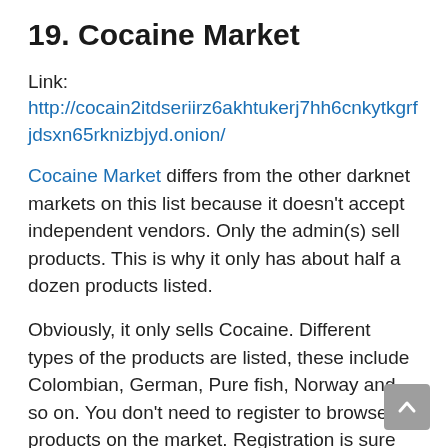19. Cocaine Market
Link:
http://cocain2itdseriirz6akhtukerj7hh6cnkytkgrfjdsxn65rknizbjyd.onion/
Cocaine Market differs from the other darknet markets on this list because it doesn't accept independent vendors. Only the admin(s) sell products. This is why it only has about half a dozen products listed.
Obviously, it only sells Cocaine. Different types of the products are listed, these include Colombian, German, Pure fish, Norway and so on. You don't need to register to browse products on the market. Registration is sure required for placing